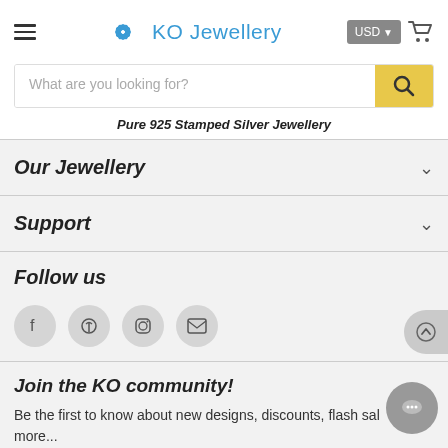KO Jewellery
What are you looking for?
Pure 925 Stamped Silver Jewellery
Our Jewellery
Support
Follow us
[Figure (infographic): Social media icons: Facebook, Pinterest, Instagram, Email]
Join the KO community!
Be the first to know about new designs, discounts, flash sales and more...